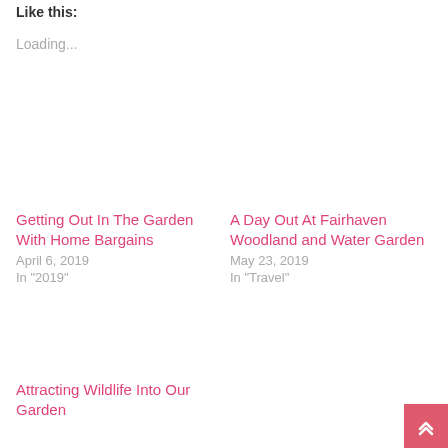Like this:
Loading...
Getting Out In The Garden With Home Bargains
April 6, 2019
In "2019"
A Day Out At Fairhaven Woodland and Water Garden
May 23, 2019
In "Travel"
Attracting Wildlife Into Our Garden